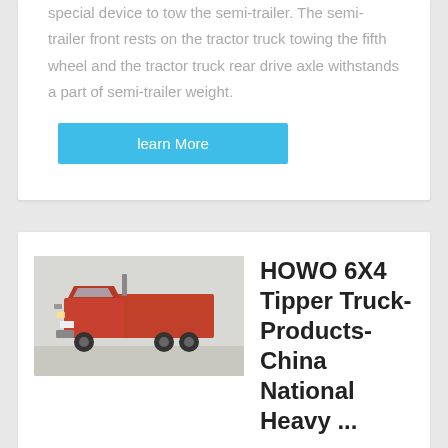special device to tow the semi-trailer. The semi-trailer front rests on the tractor truck towing the fifth wheel and the tractor truck rear drive axle withstands a part of semi-trailer weight.
learn More
[Figure (photo): Red HOWO 6X4 tipper/dump truck photographed from the side in a parking area]
HOWO 6X4 Tipper Truck-Products-China National Heavy ...
HOWO 6X4 Tipper Truck. Driving Type: 6x4 / 10 Wheels / 3 Axles. Horse Power: 290HP / 336HP /